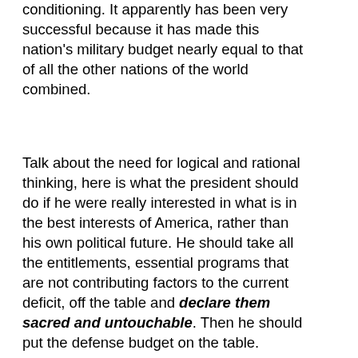conditioning. It apparently has been very successful because it has made this nation's military budget nearly equal to that of all the other nations of the world combined.
Talk about the need for logical and rational thinking, here is what the president should do if he were really interested in what is in the best interests of America, rather than his own political future. He should take all the entitlements, essential programs that are not contributing factors to the current deficit, off the table and declare them sacred and untouchable. Then he should put the defense budget on the table.
There is no need to radically reduce the funding for defense; all that needs to be done is to review the myriad of areas that could be significantly scaled back, and reduce those no longer necessary. That would still leave this nation with the most effective national security system in the